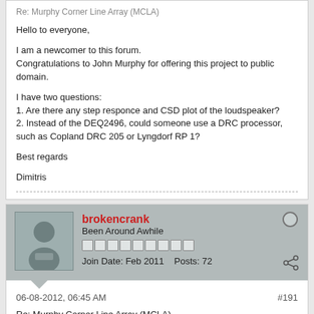Re: Murphy Corner Line Array (MCLA)
Hello to everyone,

I am a newcomer to this forum.
Congratulations to John Murphy for offering this project to public domain.

I have two questions:
1. Are there any step responce and CSD plot of the loudspeaker?
2. Instead of the DEQ2496, could someone use a DRC processor, such as Copland DRC 205 or Lyngdorf RP 1?

Best regards

Dimitris
brokencrank
Been Around Awhile
Join Date: Feb 2011    Posts: 72
06-08-2012, 06:45 AM
#191
Re: Murphy Corner Line Array (MCLA)
[QUOTE=dmontella;1825510] If anyone in the Boston area is interested in the cabinets you can have them - no charge.